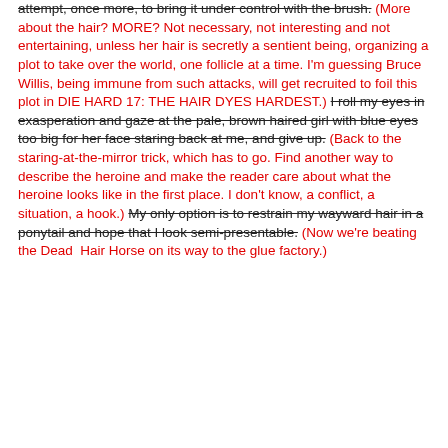attempt, once more, to bring it under control with the brush. (More about the hair? MORE? Not necessary, not interesting and not entertaining, unless her hair is secretly a sentient being, organizing a plot to take over the world, one follicle at a time. I'm guessing Bruce Willis, being immune from such attacks, will get recruited to foil this plot in DIE HARD 17: THE HAIR DYES HARDEST.) I roll my eyes in exasperation and gaze at the pale, brown haired girl with blue eyes too big for her face staring back at me, and give up. (Back to the staring-at-the-mirror trick, which has to go. Find another way to describe the heroine and make the reader care about what the heroine looks like in the first place. I don't know, a conflict, a situation, a hook.) My only option is to restrain my wayward hair in a ponytail and hope that I look semi-presentable. (Now we're beating the Dead Hair Horse on its way to the glue factory.)